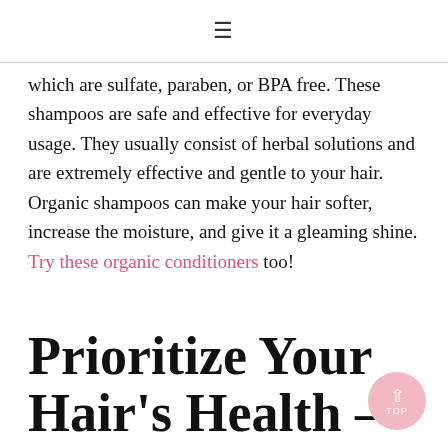≡
which are sulfate, paraben, or BPA free. These shampoos are safe and effective for everyday usage. They usually consist of herbal solutions and are extremely effective and gentle to your hair. Organic shampoos can make your hair softer, increase the moisture, and give it a gleaming shine. Try these organic conditioners too!
Prioritize Your Hair's Health – And Your